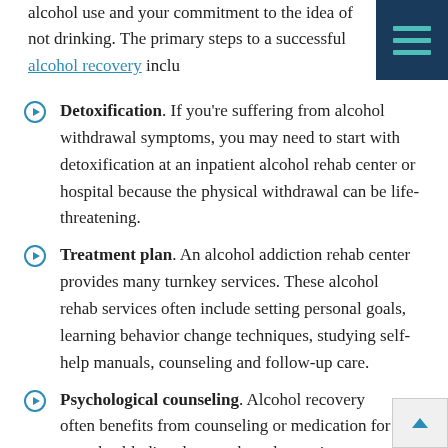alcohol use and your commitment to the idea of not drinking. The primary steps to a successful alcohol recovery include
Detoxification. If you're suffering from alcohol withdrawal symptoms, you may need to start with detoxification at an inpatient alcohol rehab center or hospital because the physical withdrawal can be life-threatening.
Treatment plan. An alcohol addiction rehab center provides many turnkey services. These alcohol rehab services often include setting personal goals, learning behavior change techniques, studying self-help manuals, counseling and follow-up care.
Psychological counseling. Alcohol recovery often benefits from counseling or medication for mental health disorders, such as depression or anxiety.